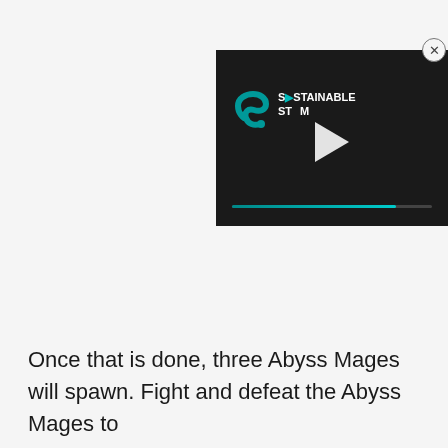[Figure (screenshot): A video player overlay showing a dark background with a teal/green logo and the text 'SUSTAINABLE STEAM' partially obscured by a white play button triangle, with a teal progress bar near the bottom. A close (X) button is in the upper right corner.]
Once that is done, three Abyss Mages will spawn. Fight and defeat the Abyss Mages to